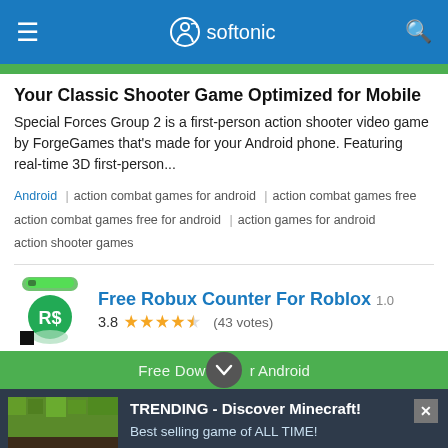softonic
Your Classic Shooter Game Optimized for Mobile
Special Forces Group 2 is a first-person action shooter video game by ForgeGames that's made for your Android phone. Featuring real-time 3D first-person...
Android | action combat games for android | action combat games free action combat games free for android | action games for android action shooter games
Free Robux Counter For Roblox 1.0
3.8 (43 votes)
Free Dow... r Android
[Figure (screenshot): Advertisement banner: Trending - Discover Minecraft! Best selling game of ALL TIME! with Discover now button and Minecraft block image]